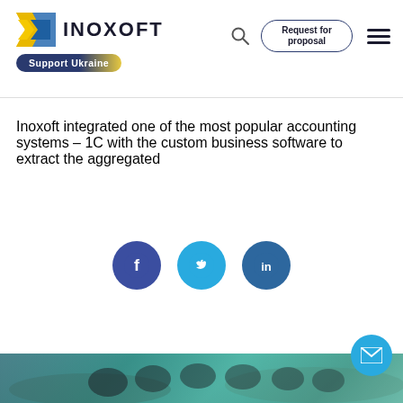INOXOFT | Support Ukraine | Request for proposal
Inoxoft integrated one of the most popular accounting systems – 1C with the custom business software to extract the aggregated
[Figure (illustration): Social media share icons: Facebook (dark blue circle with f), Twitter (light blue circle with bird), LinkedIn (medium blue circle with in)]
[Figure (photo): A group of rowers on a lake with a teal/cyan color overlay. Trees and water visible in background. Multiple people in rowing boat holding oars.]